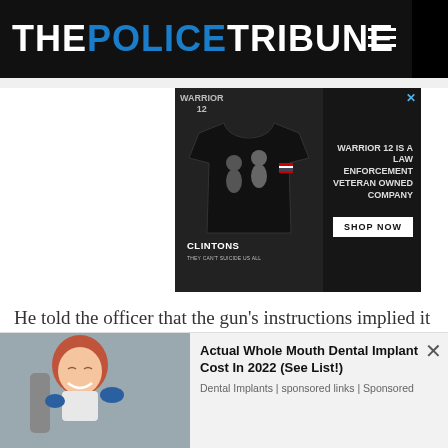THE POLICE TRIBUNE
[Figure (photo): Advertisement for Warrior 12, a law enforcement veteran owned company. Black t-shirt with 'CLINTONS THEY CAN'T SUICIDE US ALL' text. Right side reads 'WARRIOR 12 IS A LAW ENFORCEMENT VETERAN OWNED COMPANY' with a 'SHOP NOW' button.]
He told the officer that the gun's instructions implied it had to be loaded with two bullets to fire, the police report
[Figure (photo): Bottom advertisement showing a woman at a dental office with red hair, smiling. Ad text reads 'Actual Whole Mouth Dental Implant Cost In 2022 (See List!)' by Dental Implants | sponsored links | Sponsored]